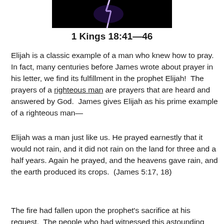[Figure (photo): Dark image of lightning bolt against a black background]
1 Kings 18:41—46
Elijah is a classic example of a man who knew how to pray.  In fact, many centuries before James wrote about prayer in his letter, we find its fulfillment in the prophet Elijah!  The prayers of a righteous man are prayers that are heard and answered by God.  James gives Elijah as his prime example of a righteous man—
Elijah was a man just like us. He prayed earnestly that it would not rain, and it did not rain on the land for three and a half years. Again he prayed, and the heavens gave rain, and the earth produced its crops.  (James 5:17, 18)
The fire had fallen upon the prophet's sacrifice at his request.  The people who had witnessed this astounding